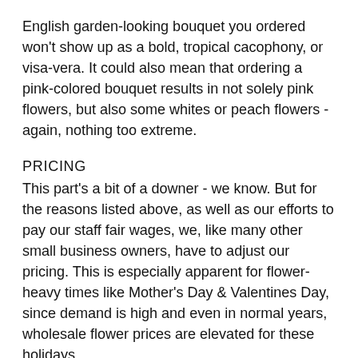English garden-looking bouquet you ordered won't show up as a bold, tropical cacophony, or visa-vera. It could also mean that ordering a pink-colored bouquet results in not solely pink flowers, but also some whites or peach flowers - again, nothing too extreme.
PRICING
This part's a bit of a downer - we know. But for the reasons listed above, as well as our efforts to pay our staff fair wages, we, like many other small business owners, have to adjust our pricing. This is especially apparent for flower-heavy times like Mother's Day & Valentines Day, since demand is high and even in normal years, wholesale flower prices are elevated for these holidays.
WEDDING REFERRALS
While we are definitely NOT a wedding-ist about the